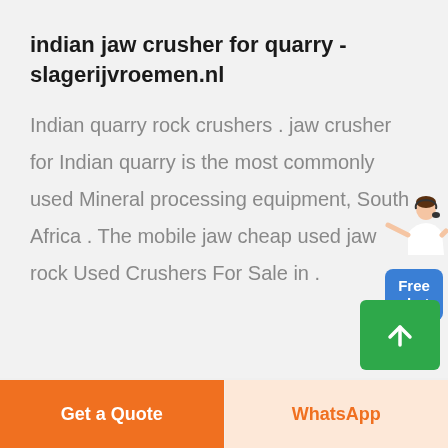indian jaw crusher for quarry - slagerijvroemen.nl
Indian quarry rock crushers . jaw crusher for Indian quarry is the most commonly used Mineral processing equipment, South Africa . The mobile jaw cheap used jaw rock Used Crushers For Sale in .
[Figure (illustration): A chat widget with a person figure wearing a white shirt and a blue rounded rectangle button labeled 'Free chat']
[Figure (illustration): A green rounded rectangle scroll-to-top button with a white upward arrow icon]
Get a Quote
WhatsApp